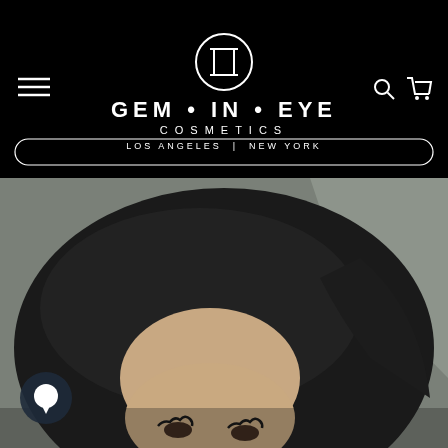[Figure (logo): Gem In Eye Cosmetics logo with Gemini symbol circle, brand name GEM · IN · EYE COSMETICS, and locations LOS ANGELES | NEW YORK on black background with menu icon, search icon, and cart icon]
[Figure (photo): Close-up photo of a woman with dark hair, styled brows, and dramatic eyelashes, shot against a gray background]